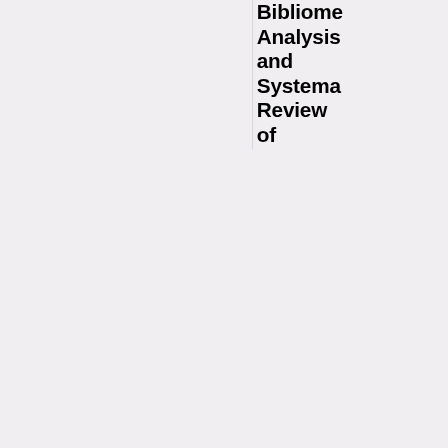Bibliometric Analysis and Systematic Review of Global Coronavirus Research Trends Before COVID-19